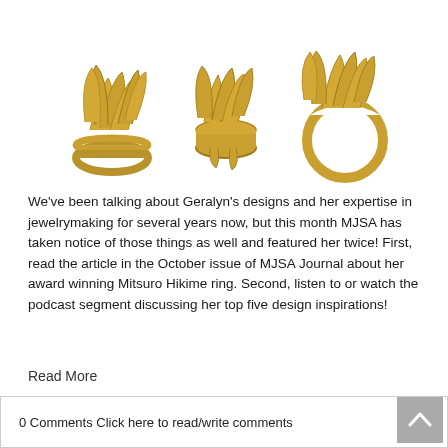[Figure (photo): Three gold sculptural rings with pleated/folded petal-like tops shown from different angles on white background]
We've been talking about Geralyn's designs and her expertise in jewelrymaking for several years now, but this month MJSA has taken notice of those things as well and featured her twice! First, read the article in the October issue of MJSA Journal about her award winning Mitsuro Hikime ring. Second, listen to or watch the podcast segment discussing her top five design inspirations!
Read More
0 Comments Click here to read/write comments